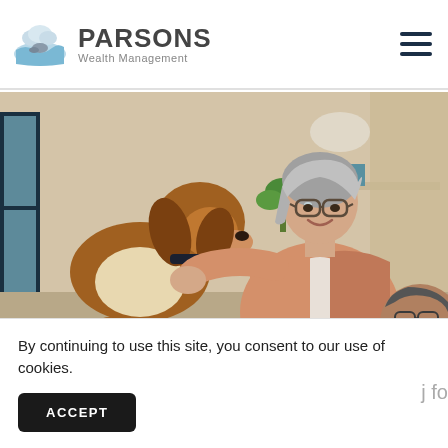[Figure (logo): Parsons Wealth Management logo with wave/landscape icon and company name]
[Figure (photo): Older woman with gray hair and glasses smiling and holding a beagle dog, with an older man partially visible in background, indoor setting]
By continuing to use this site, you consent to our use of cookies.
ACCEPT